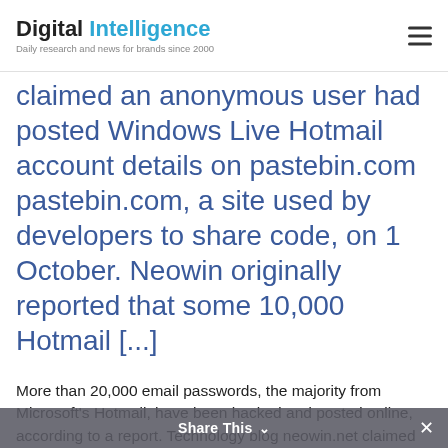Digital Intelligence — Daily research and news for brands since 2000
claimed an anonymous user had posted Windows Live Hotmail account details on pastebin.com pastebin.com, a site used by developers to share code, on 1 October. Neowin originally reported that some 10,000 Hotmail [...]
More than 20,000 email passwords, the majority from Microsoft's Hotmail, have been hacked and posted online, according to a report. Technology blog neowin.net claimed an anonymous user had